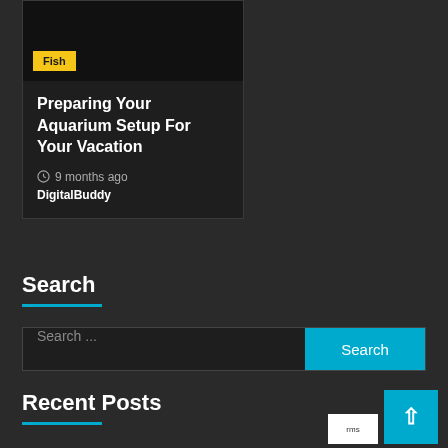[Figure (illustration): Dark card with yellow 'Fish' tag label on a black image area]
Preparing Your Aquarium Setup For Your Vacation
9 months ago
DigitalBuddy
Search
Search ...
Recent Posts